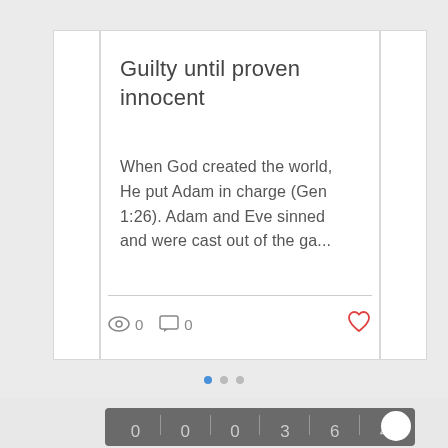[Figure (screenshot): Mobile app card showing a blog post titled 'Guilty until proven innocent' with text excerpt, view count 0, comment count 0, and a heart/like icon. Below the card are pagination dots and a combination lock counter showing 000364.]
Guilty until proven innocent
When God created the world, He put Adam in charge (Gen 1:26). Adam and Eve sinned and were cast out of the ga...
0  0  000364